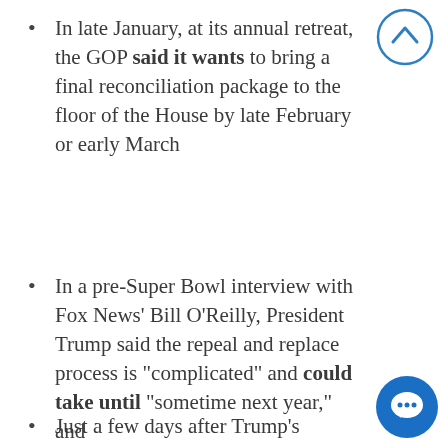In late January, at its annual retreat, the GOP said it wants to bring a final reconciliation package to the floor of the House by late February or early March
In a pre-Super Bowl interview with Fox News' Bill O'Reilly, President Trump said the repeal and replace process is "complicated" and could take until "sometime next year," and
Just a few days after Trump's statements to